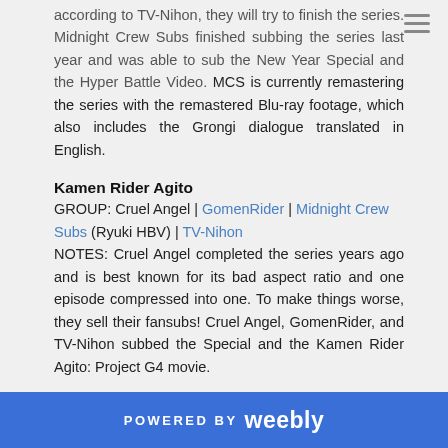according to TV-Nihon, they will try to finish the series. Midnight Crew Subs finished subbing the series last year and was able to sub the New Year Special and the Hyper Battle Video. MCS is currently remastering the series with the remastered Blu-ray footage, which also includes the Grongi dialogue translated in English.
Kamen Rider Agito
GROUP: Cruel Angel | GomenRider | Midnight Crew Subs (Ryuki HBV) | TV-Nihon
NOTES: Cruel Angel completed the series years ago and is best known for its bad aspect ratio and one episode compressed into one. To make things worse, they sell their fansubs! Cruel Angel, GomenRider, and TV-Nihon subbed the Special and the Kamen Rider Agito: Project G4 movie.
Kamen Rider Ryuki
GROUP: TV-Nihon | Sub-Vent & MirrorWorldScrubs | Genm Corp | Rider Time Fansubs (Rider Time)
POWERED BY weebly